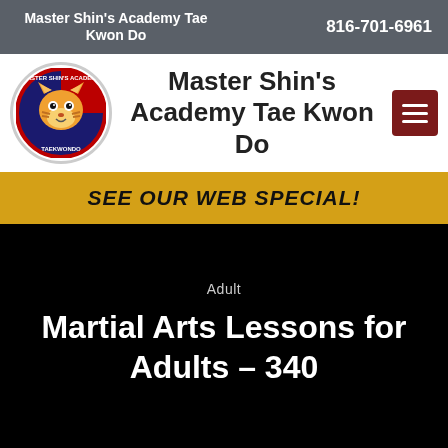Master Shin's Academy Tae Kwon Do | 816-701-6961
Master Shin's Academy Tae Kwon Do
SEE OUR WEB SPECIAL!
Adult
Martial Arts Lessons for Adults – 340